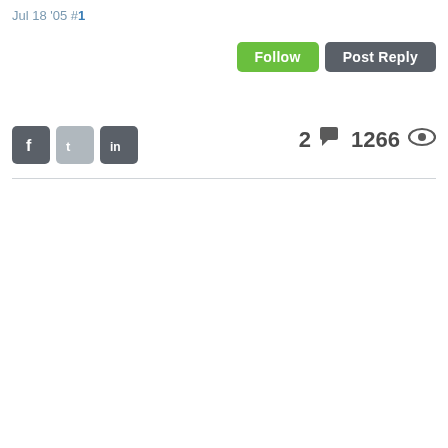Jul 18 '05 #1
[Figure (screenshot): Follow and Post Reply buttons]
[Figure (screenshot): Social share icons (Facebook, Twitter, LinkedIn) and stats: 2 comments, 1266 views]